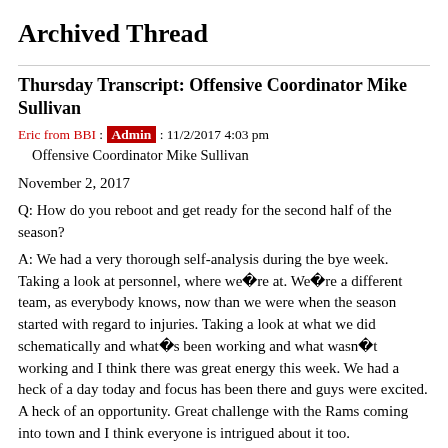Archived Thread
Thursday Transcript: Offensive Coordinator Mike Sullivan
Eric from BBI : Admin : 11/2/2017 4:03 pm
Offensive Coordinator Mike Sullivan
November 2, 2017
Q: How do you reboot and get ready for the second half of the season?
A: We had a very thorough self-analysis during the bye week. Taking a look at personnel, where we�re at. We�re a different team, as everybody knows, now than we were when the season started with regard to injuries. Taking a look at what we did schematically and what�s been working and what wasn�t working and I think there was great energy this week. We had a heck of a day today and focus has been there and guys were excited. A heck of an opportunity. Great challenge with the Rams coming into town and I think everyone is intrigued about it too.